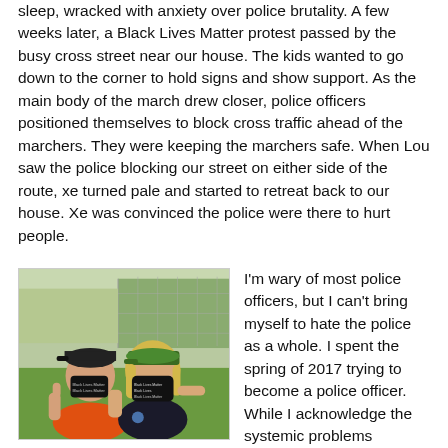sleep, wracked with anxiety over police brutality. A few weeks later, a Black Lives Matter protest passed by the busy cross street near our house. The kids wanted to go down to the corner to hold signs and show support. As the main body of the march drew closer, police officers positioned themselves to block cross traffic ahead of the marchers. They were keeping the marchers safe. When Lou saw the police blocking our street on either side of the route, xe turned pale and started to retreat back to our house. Xe was convinced the police were there to hurt people.
[Figure (photo): Two children outdoors wearing Black Lives Matter face masks, one in an orange shirt with hands raised, the other in a green cap and dark shirt. Green grass and a chain-link fence visible in the background.]
I'm wary of most police officers, but I can't bring myself to hate the police as a whole. I spent the spring of 2017 trying to become a police officer. While I acknowledge the systemic problems